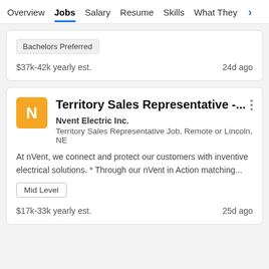Overview  Jobs  Salary  Resume  Skills  What They >
Bachelors Preferred
$37k-42k yearly est.   24d ago
Territory Sales Representative -...
Nvent Electric Inc.
Territory Sales Representative Job, Remote or Lincoln, NE
At nVent, we connect and protect our customers with inventive electrical solutions. * Through our nVent in Action matching...
Mid Level
$17k-33k yearly est.   25d ago